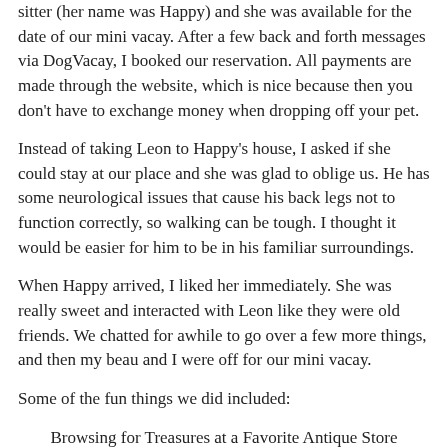sitter (her name was Happy) and she was available for the date of our mini vacay. After a few back and forth messages via DogVacay, I booked our reservation. All payments are made through the website, which is nice because then you don't have to exchange money when dropping off your pet.
Instead of taking Leon to Happy's house, I asked if she could stay at our place and she was glad to oblige us. He has some neurological issues that cause his back legs not to function correctly, so walking can be tough. I thought it would be easier for him to be in his familiar surroundings.
When Happy arrived, I liked her immediately. She was really sweet and interacted with Leon like they were old friends. We chatted for awhile to go over a few more things, and then my beau and I were off for our mini vacay.
Some of the fun things we did included:
Browsing for Treasures at a Favorite Antique Store
[Figure (photo): Partial photo of what appears to be an antique store item with a gold/wooden frame, showing only the top portion of the image]